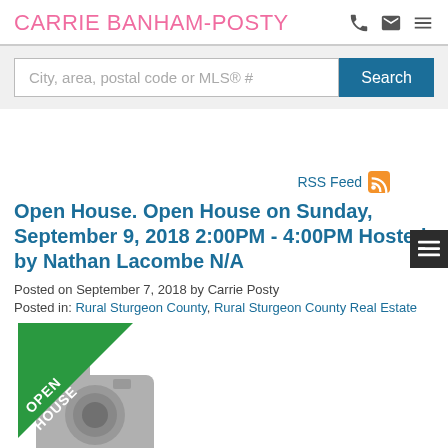CARRIE BANHAM-POSTY
City, area, postal code or MLS® #  Search
RSS Feed
Open House. Open House on Sunday, September 9, 2018 2:00PM - 4:00PM Hosted by Nathan Lacombe N/A
Posted on September 7, 2018 by Carrie Posty
Posted in: Rural Sturgeon County, Rural Sturgeon County Real Estate
[Figure (illustration): Open House badge with camera icon placeholder image and green diagonal banner reading OPEN HOUSE]